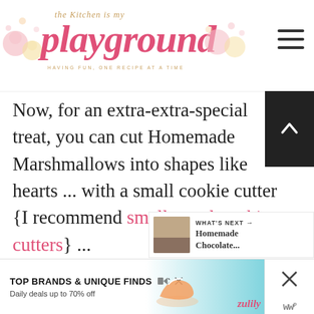The Kitchen is my Playground — HAVING FUN, ONE RECIPE AT A TIME
Now, for an extra-extra-special treat, you can cut Homemade Marshmallows into shapes like hearts ... with a small cookie cutter {I recommend small metal cookie cutters} ...
[Figure (screenshot): What's Next panel showing Homemade Chocolate... with thumbnail image]
[Figure (screenshot): Advertisement banner: TOP BRANDS & UNIQUE FINDS — Daily deals up to 70% off — zulily]